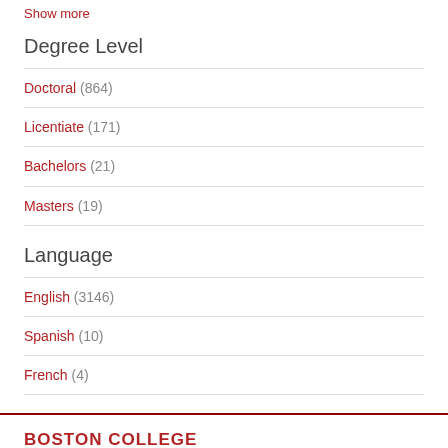Show more
Degree Level
Doctoral (864)
Licentiate (171)
Bachelors (21)
Masters (19)
Language
English (3146)
Spanish (10)
French (4)
[Figure (logo): Boston College Libraries logo with red 'BOSTON COLLEGE' text above large black 'LIBRARIES' text]
Policies   Contact Us   Login